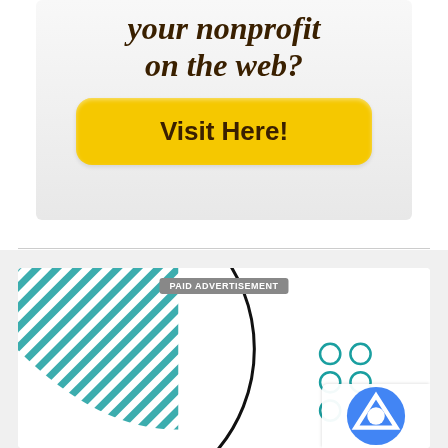[Figure (illustration): Advertisement banner with italic bold text 'your nonprofit on the web?' and a yellow rounded button labeled 'Visit Here!']
[Figure (illustration): Second advertisement banner with teal diagonal stripes, a large black circle arc, teal dot grid, and a 'PAID ADVERTISEMENT' label. Bottom right has a reCAPTCHA/Privacy overlay.]